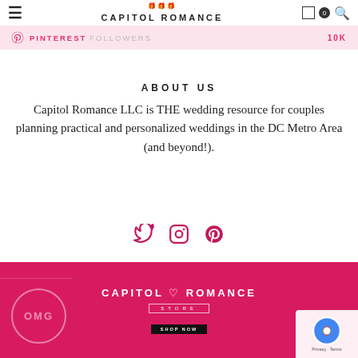Capitol Romance
PINTEREST FOLLOWERS 10K
ABOUT US
Capitol Romance LLC is THE wedding resource for couples planning practical and personalized weddings in the DC Metro Area (and beyond!).
[Figure (illustration): Social media icons: Twitter, Instagram, Pinterest in pink/magenta color]
[Figure (illustration): Capitol Romance Store banner ad with pink/magenta background, OMG circle graphic, Capitol Romance Store logo, Shop Now button, and reCAPTCHA badge]